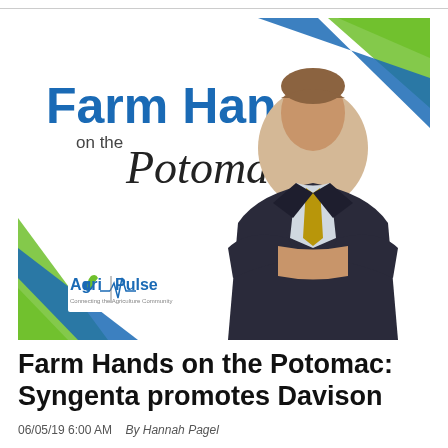[Figure (illustration): Farm Hands on the Potomac podcast graphic with blue diagonal stripes top-right, green diagonal stripes bottom-left, and a professional man in a dark suit with arms crossed. Agri-Pulse logo at bottom-left of image.]
Farm Hands on the Potomac: Syngenta promotes Davison
06/05/19 6:00 AM   By Hannah Pagel